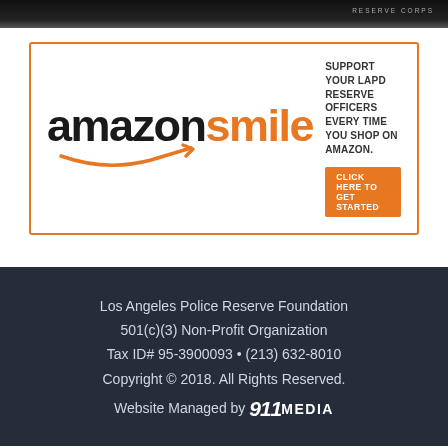[Figure (photo): Top portion of a dark image showing partial text 'RESERVE CORPS' in gray letters on dark background]
[Figure (infographic): Amazon Smile advertisement box with orange border. Shows 'amazon' in black bold text and 'smile' in orange bold text with Amazon arrow logo. Text reads: SUPPORT YOUR LAPD RESERVE OFFICERS EVERY TIME YOU SHOP ON AMAZON. Orange button: CLICK HERE TO GET STARTED]
Los Angeles Police Reserve Foundation
501(c)(3) Non-Profit Organization
Tax ID# 95-3900093 • (213) 632-8010
Copyright © 2018. All Rights Reserved.
Website Managed by 911 MEDIA